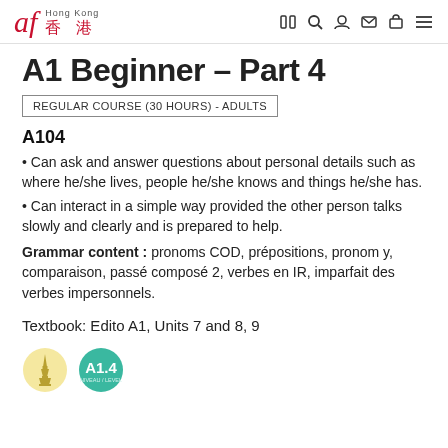af Hong Kong 香港 [navigation icons]
A1 Beginner – Part 4
REGULAR COURSE (30 HOURS) - ADULTS
A104
Can ask and answer questions about personal details such as where he/she lives, people he/she knows and things he/she has.
Can interact in a simple way provided the other person talks slowly and clearly and is prepared to help.
Grammar content : pronoms COD, prépositions, pronom y, comparaison, passé composé 2, verbes en IR, imparfait des verbes impersonnels.
Textbook: Edito A1, Units 7 and 8, 9
[Figure (illustration): Two circular icons: one beige with Eiffel Tower silhouette, one teal with 'A1.4' level badge]